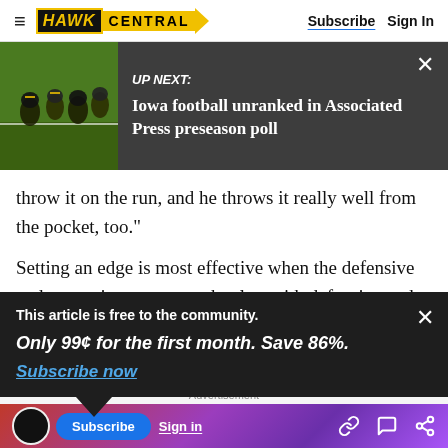HAWK CENTRAL | Subscribe | Sign In
[Figure (screenshot): Up Next banner with football practice photo and headline: Iowa football unranked in Associated Press preseason poll]
throw it on the run, and he throws it really well from the pocket, too."
Setting an edge is most effective when the defensive ends can win one-on-one battles, with defensive ends Ott and Nate Meier dow...
This article is free to the community. Only 99¢ for the first month. Save 86%. Subscribe now
Advertisement | Subscribe | Sign in